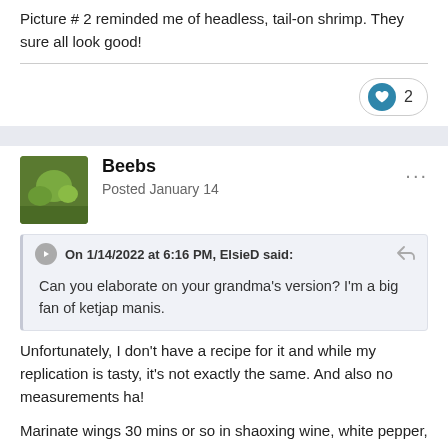Picture # 2 reminded me of headless, tail-on shrimp.  They sure all look good!
On 1/14/2022 at 6:16 PM, ElsieD said:
Can you elaborate on your grandma's version?  I'm a big fan of ketjap manis.
Beebs
Posted January 14
Unfortunately, I don't have a recipe for it and while my replication is tasty, it's not exactly the same. And also no measurements ha!
Marinate wings 30 mins or so in shaoxing wine, white pepper, bit